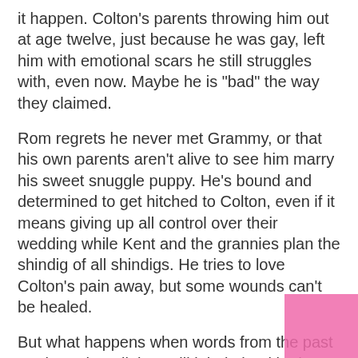it happen. Colton's parents throwing him out at age twelve, just because he was gay, left him with emotional scars he still struggles with, even now. Maybe he is "bad" the way they claimed.
Rom regrets he never met Grammy, or that his own parents aren't alive to see him marry his sweet snuggle puppy. He's bound and determined to get hitched to Colton, even if it means giving up all control over their wedding while Kent and the grannies plan the shindig of all shindigs. He tries to love Colton's pain away, but some wounds can't be healed.
But what happens when words from the past are brought to light? Will it help heal both men's hearts, finally allowing them a chance to escape from their old, mutual anguish?
Related Books: Colton and Rom were first introduced in Numb as a Statue. Kent, Tim, and Paul were featured